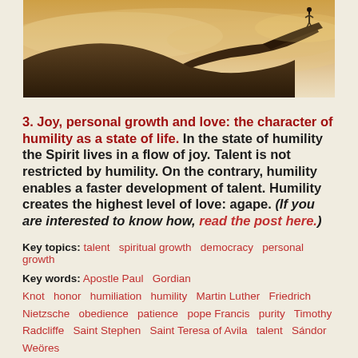[Figure (photo): Sepia-toned photo of a person standing on a rocky cliff edge against a dramatic sky with clouds and hazy light]
3. Joy, personal growth and love: the character of humility as a state of life.
In the state of humility the Spirit lives in a flow of joy. Talent is not restricted by humility. On the contrary, humility enables a faster development of talent. Humility creates the highest level of love: agape. (If you are interested to know how, read the post here.)
Key topics: talent  spiritual growth  democracy  personal growth
Key words: Apostle Paul  Gordian Knot  honor  humiliation  humility  Martin Luther  Friedrich Nietzsche  obedience  patience  pope Francis  purity  Timothy Radcliffe  Saint Stephen  Saint Teresa of Avila  talent  Sándor Weöres
4644 reads  Log in to post comments  Read more